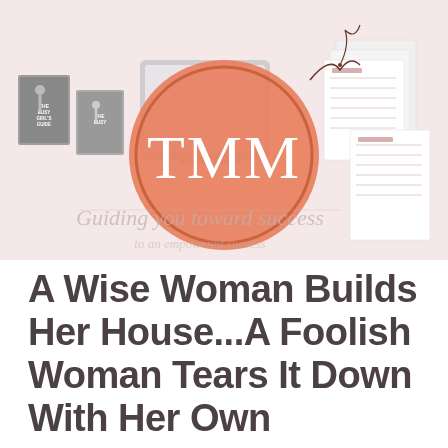[Figure (illustration): A promotional hero image with a light pink/blush background showing book covers on the left, digital tablet in the center-left, printed planner/worksheet pages on the right, and a large orange circular logo in the center with the letters TMM in white serif font. Decorative botanical line art and the text 'Guiding you toward success' appears in the lower portion.]
A Wise Woman Builds Her House...A Foolish Woman Tears It Down With Her Own...